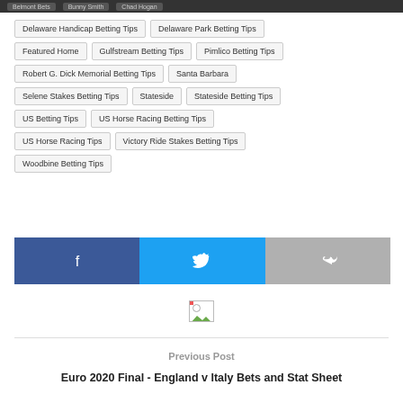Belmont Bets · Bunny Smith · Chad Hogan
Delaware Handicap Betting Tips
Delaware Park Betting Tips
Featured Home
Gulfstream Betting Tips
Pimlico Betting Tips
Robert G. Dick Memorial Betting Tips
Santa Barbara
Selene Stakes Betting Tips
Stateside
Stateside Betting Tips
US Betting Tips
US Horse Racing Betting Tips
US Horse Racing Tips
Victory Ride Stakes Betting Tips
Woodbine Betting Tips
[Figure (infographic): Social share buttons: Facebook (dark blue with f icon), Twitter (light blue with bird icon), Share (grey with arrow icon)]
[Figure (photo): Broken/missing image placeholder icon]
Previous Post
Euro 2020 Final - England v Italy Bets and Stat Sheet